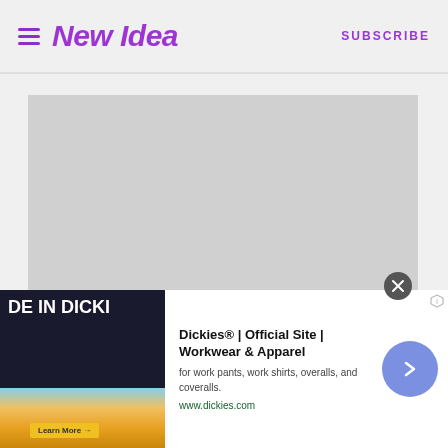New Idea | SUBSCRIBE
[Figure (photo): Large grey placeholder image area occupying the main content area of the page]
[Figure (screenshot): Advertisement banner for Dickies Official Site - Workwear and Apparel. Shows 'DE IN DICKI' text on dark background with sunset image on left, ad text and arrow button on right. Includes close button and ad info icon.]